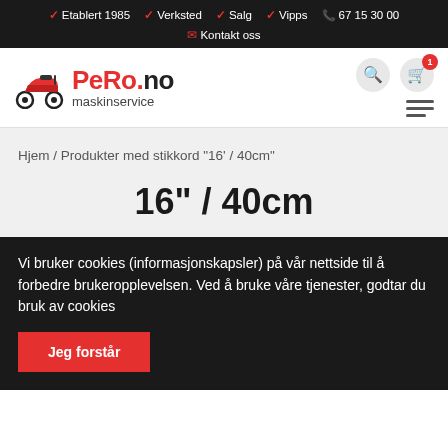✓ Etablert 1985  ✓ Verksted  ✓ Salg  ✓ Vipps  📞 67 15 30 00  ✉ Kontakt oss
[Figure (logo): PeRo.no maskinservice logo with scooter icon]
Hjem / Produkter med stikkord "16' / 40cm"
16" / 40cm
Vi bruker cookies (informasjonskapsler) på vår nettside til å forbedre brukeropplevelsen. Ved å bruke våre tjenester, godtar du bruk av cookies
Jeg forstår